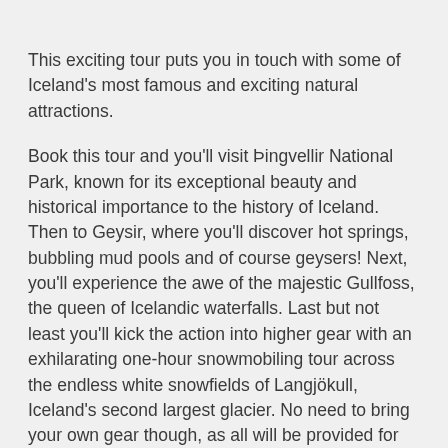This exciting tour puts you in touch with some of Iceland's most famous and exciting natural attractions.
Book this tour and you'll visit Þingvellir National Park, known for its exceptional beauty and historical importance to the history of Iceland. Then to Geysir, where you'll discover hot springs, bubbling mud pools and of course geysers! Next, you'll experience the awe of the majestic Gullfoss, the queen of Icelandic waterfalls. Last but not least you'll kick the action into higher gear with an exhilarating one-hour snowmobiling tour across the endless white snowfields of Langjökull, Iceland's second largest glacier. No need to bring your own gear though, as all will be provided for you!